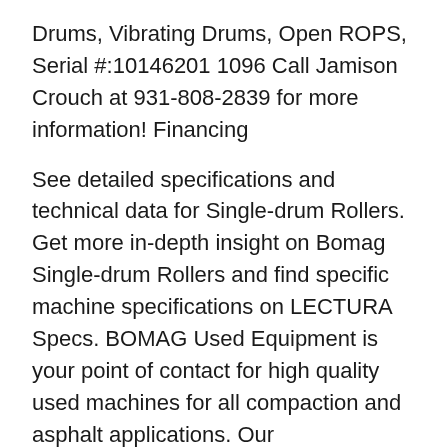Drums, Vibrating Drums, Open ROPS, Serial #:10146201 1096 Call Jamison Crouch at 931-808-2839 for more information! Financing
See detailed specifications and technical data for Single-drum Rollers. Get more in-depth insight on Bomag Single-drum Rollers and find specific machine specifications on LECTURA Specs. BOMAG Used Equipment is your point of contact for high quality used machines for all compaction and asphalt applications. Our knowledgeable, reliable and cooperative specialists offer you consistent quality, consulting services, model selection, financing as well as service facilities for used machines, directly from the manufacturer.